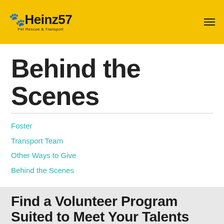Heinz57 Pet Rescue & Transport
Behind the Scenes
Foster
Transport Team
Other Ways to Give
Behind the Scenes
Find a Volunteer Program Suited to Meet Your Talents